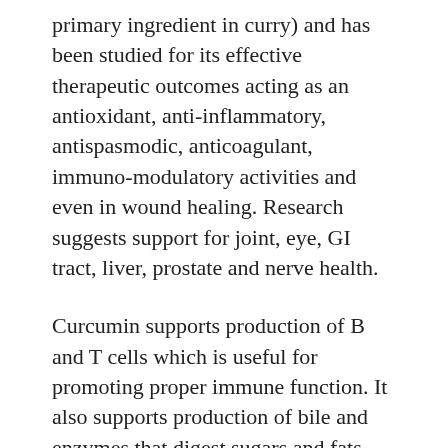primary ingredient in curry) and has been studied for its effective therapeutic outcomes acting as an antioxidant, anti-inflammatory, antispasmodic, anticoagulant, immuno-modulatory activities and even in wound healing. Research suggests support for joint, eye, GI tract, liver, prostate and nerve health.
Curcumin supports production of B and T cells which is useful for promoting proper immune function. It also supports production of bile and enzymes that digest sugars and fats. This helps to maintain cholesterol levels within normal range. Turmeric supports intestinal flora and the mucus membranes of the body, including those of the digestive tract. As such, it may be beneficial after a course of antibiotics and for those with unbalanced intestinal flora. It also